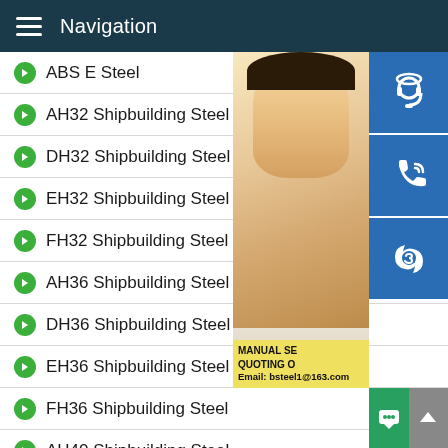Navigation
ABS E Steel
AH32 Shipbuilding Steel
DH32 Shipbuilding Steel
EH32 Shipbuilding Steel
FH32 Shipbuilding Steel
AH36 Shipbuilding Steel
DH36 Shipbuilding Steel
EH36 Shipbuilding Steel
FH36 Shipbuilding Steel
AH40 Shipbuilding Steel
Corten A
[Figure (photo): Customer service representative woman with headset smiling, with contact info overlay showing MANUAL SE... QUOTING O... Email: bsteel1@163.com, and blue icons for headset, phone, Skype]
MANUAL SE
QUOTING O
Email: bsteel1@163.com